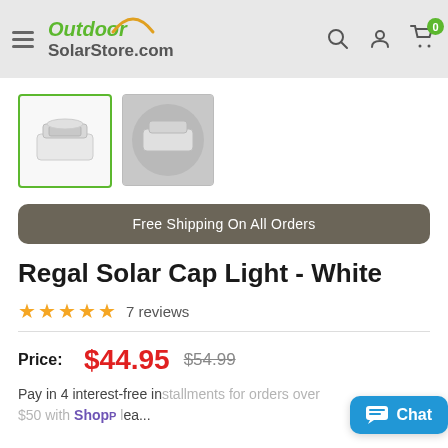OutdoorSolarStore.com
[Figure (photo): Two product thumbnails of Regal Solar Cap Light - White. First thumbnail is selected with green border, showing white solar cap light from above. Second is unselected showing a close-up of the solar panel top.]
Free Shipping On All Orders
Regal Solar Cap Light - White
★★★★★ 7 reviews
Price: $44.95  $54.99
Pay in 4 interest-free installments for orders over $50 with Shop Pay Learn